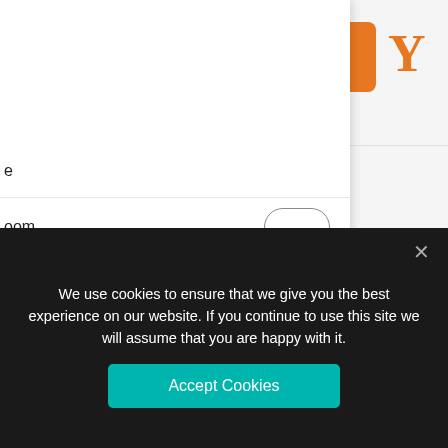[Figure (logo): Orange square logo with white house/building icon (B logo)]
[Figure (screenshot): Orange close/X button (square with rounded corners)]
Y
rniture.com
oom
g
g
y & Office
ular Kitchen Kolkata
[Figure (screenshot): Orange hamburger/menu icon button]
e
We use cookies to ensure that we give you the best experience on our website. If you continue to use this site we will assume that you are happy with it.
Accept Cookies